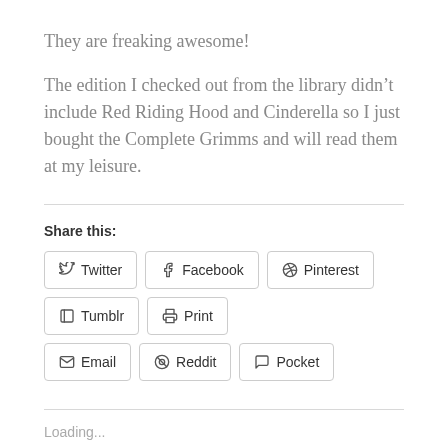They are freaking awesome!
The edition I checked out from the library didn’t include Red Riding Hood and Cinderella so I just bought the Complete Grimms and will read them at my leisure.
Share this:
Twitter Facebook Pinterest Tumblr Print Email Reddit Pocket
Loading...